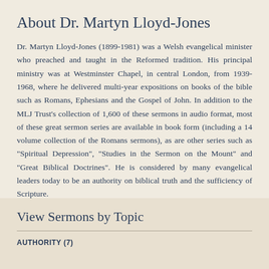About Dr. Martyn Lloyd-Jones
Dr. Martyn Lloyd-Jones (1899-1981) was a Welsh evangelical minister who preached and taught in the Reformed tradition. His principal ministry was at Westminster Chapel, in central London, from 1939-1968, where he delivered multi-year expositions on books of the bible such as Romans, Ephesians and the Gospel of John. In addition to the MLJ Trust's collection of 1,600 of these sermons in audio format, most of these great sermon series are available in book form (including a 14 volume collection of the Romans sermons), as are other series such as "Spiritual Depression", "Studies in the Sermon on the Mount" and "Great Biblical Doctrines". He is considered by many evangelical leaders today to be an authority on biblical truth and the sufficiency of Scripture.
View Sermons by Topic
AUTHORITY (7)